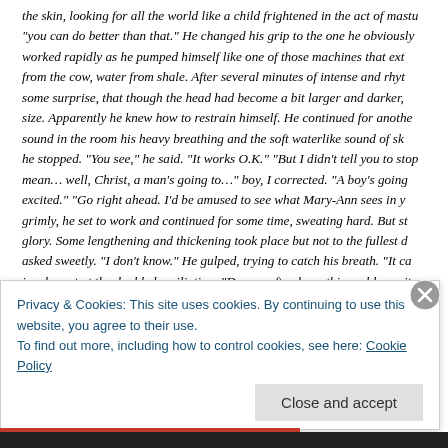the skin, looking for all the world like a child frightened in the act of mast "you can do better than that." He changed his grip to the one he obviously worked rapidly as he pumped himself like one of those machines that ext from the cow, water from shale. After several minutes of intense and rhyt some surprise, that though the head had become a bit larger and darker, size. Apparently he knew how to restrain himself. He continued for anoth sound in the room his heavy breathing and the soft waterlike sound of sk he stopped. "You see," he said. "It works O.K." "But I didn't tell you to sto mean… well, Christ, a man's going to…" boy, I corrected. "A boy's going excited." "Go right ahead. I'd be amused to see what Mary-Ann sees in y grimly, he set to work and continued for some time, sweating hard. But st glory. Some lengthening and thickening took place but not to the fullest d asked sweetly. "I don't know." He gulped, trying to catch his breath. "It ca incoherent at the double humiliation. "Do you often have this problem wit compassionate as Kay Francis, as warm as June Allyson. "No…"
Privacy & Cookies: This site uses cookies. By continuing to use this website, you agree to their use.
To find out more, including how to control cookies, see here: Cookie Policy
Close and accept